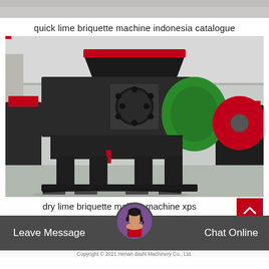[Figure (photo): Top strip of a factory/industrial background image, partial view]
quick lime briquette machine indonesia catalogue
[Figure (photo): A large industrial lime briquette press machine in dark grey/black color with green component visible on the right side, photographed in a factory/warehouse setting. Multiple similar machines visible in background.]
dry lime briquette making machine xps
Leave Message   Chat Online